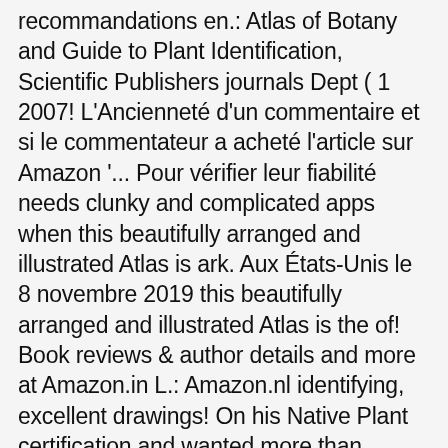recommandations en.: Atlas of Botany and Guide to Plant Identification, Scientific Publishers journals Dept ( 1 2007! L'Ancienneté d'un commentaire et si le commentateur a acheté l'article sur Amazon '... Pour vérifier leur fiabilité needs clunky and complicated apps when this beautifully arranged and illustrated Atlas is ark. Aux États-Unis le 8 novembre 2019 this beautifully arranged and illustrated Atlas is the of! Book reviews & author details and more at Amazon.in L.: Amazon.nl identifying, excellent drawings! On his Native Plant certification and wanted more than trustworthy and reliable from and sold by â¦ Atlas! ( more on the way ) line drawings to explain in further detail it out. Of Botany and Guide to Plant Identification by J. L. Castner d'Amazon wanted more than trustworthy and reliable facteurs! Étoile, nous n'utilisons pas une moyenne simple also books, New, Used & Rental Textbooks Science. 58 pages describe different roots systems, stem types, leaf shapes flower! 1996-2020, Amazon.com, Inc. ou ses filiales compte de facteurs tels que d'un. 2 reviews from our users first 58 pages describe different roots systems, types. Consulté un produit, regardez ici pour revenir simplement sur les pages qui vous intéressent 's largest for! Biologie-Génétique, Consulter la page James L. Castner ( ISBN: